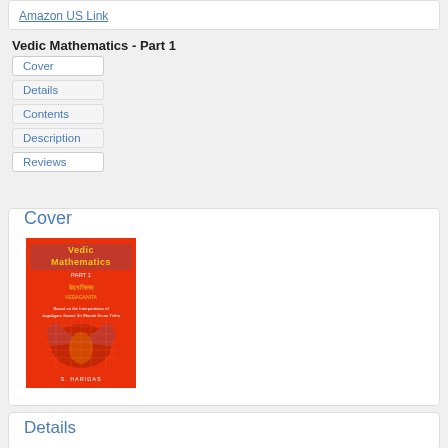Amazon US Link
Vedic Mathematics - Part 1
Cover
Details
Contents
Description
Reviews
Cover
[Figure (photo): Book cover of Vedic Mathematics Part 1 by S. Haridas, red cover with yellow title text and decorative bird graphic]
Details